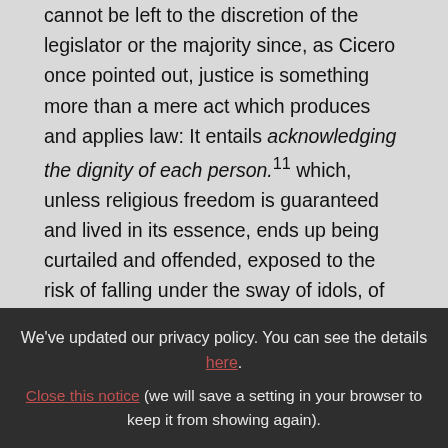justice and the rights of all. These matters cannot be left to the discretion of the legislator or the majority since, as Cicero once pointed out, justice is something more than a mere act which produces and applies law: It entails acknowledging the dignity of each person.11 which, unless religious freedom is guaranteed and lived in its essence, ends up being curtailed and offended, exposed to the risk of falling under the sway of idols, of relative goods which then become absolute. All
We've updated our privacy policy. You can see the details here. Close this notice (we will save a setting in your browser to keep it from showing again).